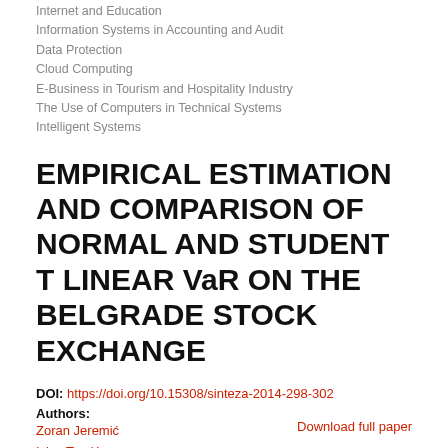Internet and Education
Information Systems in Accounting and Audit
Data Protection
Cloud Computing
E-Business in Tourism and Hospitality Industry
The Use of Computers in Technical Systems
Intelligent Systems
EMPIRICAL ESTIMATION AND COMPARISON OF NORMAL AND STUDENT T LINEAR VaR ON THE BELGRADE STOCK EXCHANGE
DOI: https://doi.org/10.15308/sinteza-2014-298-302
Authors: Zoran Jeremić, Ivica Terzić
Download full paper